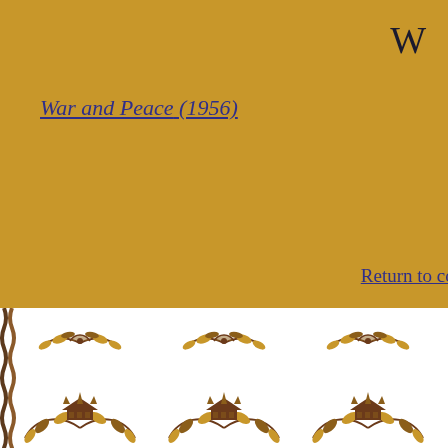W
War and Peace (1956)
Return to conte…
[Figure (illustration): Decorative pattern with laurel wreaths, crowns, and floral motifs on white background with gold borders]
Index of Actors Playing Napoleon
A B C D E F G H I J K L M N O P